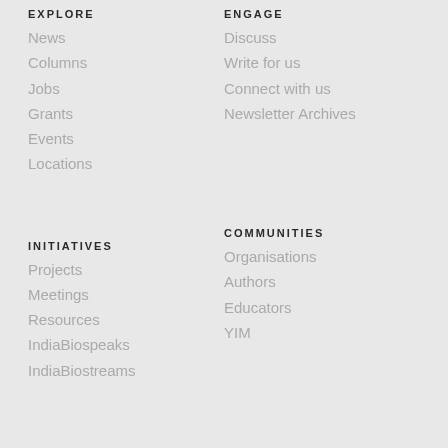EXPLORE
News
Columns
Jobs
Grants
Events
Locations
ENGAGE
Discuss
Write for us
Connect with us
Newsletter Archives
INITIATIVES
Projects
Meetings
Resources
IndiaBiospeaks
IndiaBiostreams
COMMUNITIES
Organisations
Authors
Educators
YIM
INDIABIOSCIENCE
About